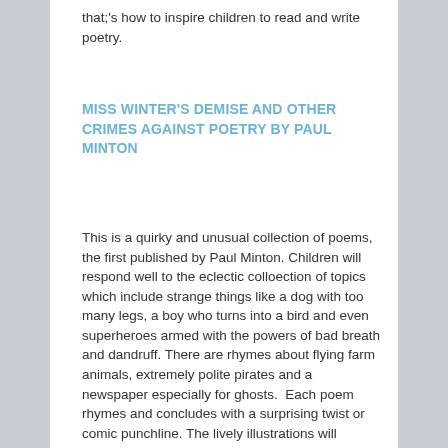that;'s how to inspire children to read and write poetry.
MISS WINTER'S DEMISE AND OTHER CRIMES AGAINST POETRY BY PAUL MINTON
This is a quirky and unusual collection of poems, the first published by Paul Minton. Children will respond well to the eclectic colloection of topics which include strange things like a dog with too many legs, a boy who turns into a bird and even superheroes armed with the powers of bad breath and dandruff. There are rhymes about flying farm animals, extremely polite pirates and a newspaper especially for ghosts.  Each poem rhymes and concludes with a surprising twist or comic punchline. The lively illustrations will extend children's